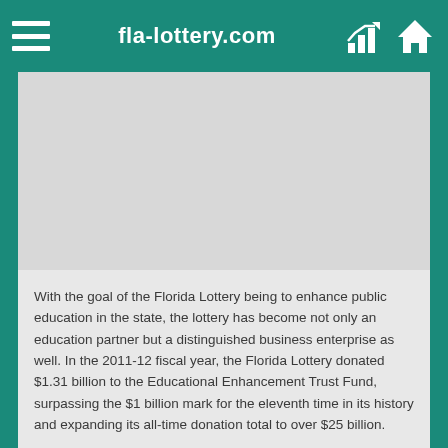fla-lottery.com
With the goal of the Florida Lottery being to enhance public education in the state, the lottery has become not only an education partner but a distinguished business enterprise as well. In the 2011-12 fiscal year, the Florida Lottery donated $1.31 billion to the Educational Enhancement Trust Fund, surpassing the $1 billion mark for the eleventh time in its history and expanding its all-time donation total to over $25 billion.
Additionally, Florida donates funds to help construct new schools and other educational facilities. As of 2012, more